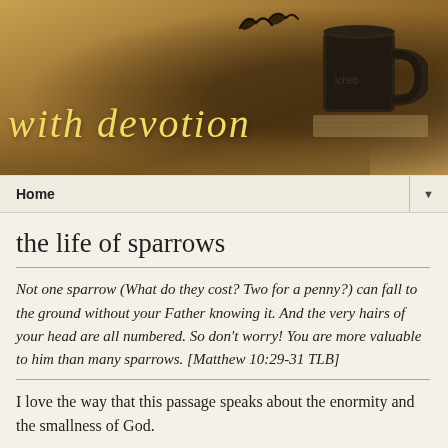[Figure (photo): Blog header banner with sepia/golden tones showing an open book with a dark coffee mug on top, birds silhouettes in upper area, and decorative script text 'with devotion' in yellow-gold cursive font]
Home ▼
the life of sparrows
Not one sparrow (What do they cost? Two for a penny?) can fall to the ground without your Father knowing it. And the very hairs of your head are all numbered. So don't worry! You are more valuable to him than many sparrows. [Matthew 10:29-31 TLB]
I love the way that this passage speaks about the enormity and the smallness of God.